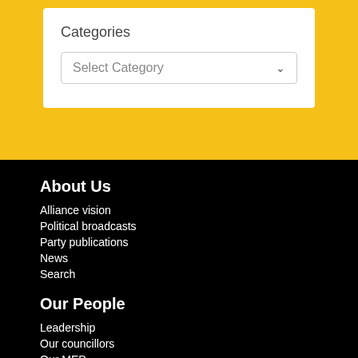Categories
Select Category
About Us
Alliance vision
Political broadcasts
Party publications
News
Search
Our People
Leadership
Our councillors
Our MEP